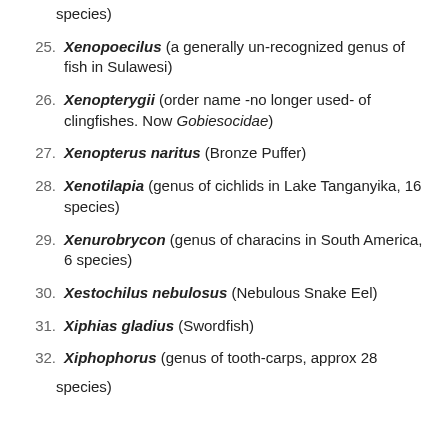species)
25. Xenopoecilus (a generally un-recognized genus of fish in Sulawesi)
26. Xenopterygii (order name -no longer used- of clingfishes. Now Gobiesocidae)
27. Xenopterus naritus (Bronze Puffer)
28. Xenotilapia (genus of cichlids in Lake Tanganyika, 16 species)
29. Xenurobrycon (genus of characins in South America, 6 species)
30. Xestochilus nebulosus (Nebulous Snake Eel)
31. Xiphias gladius (Swordfish)
32. Xiphophorus (genus of tooth-carps, approx 28 species)